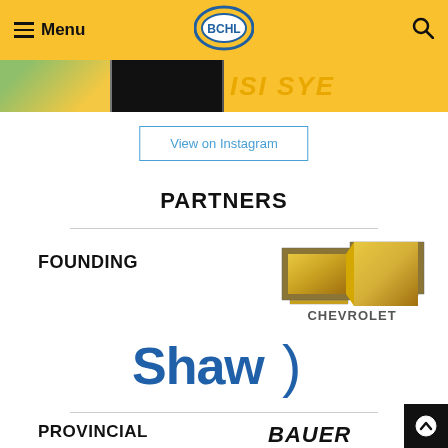Menu | BCHL
[Figure (screenshot): Instagram image strip showing colorful hockey photos]
View on Instagram
PARTNERS
FOUNDING
[Figure (logo): Chevrolet logo - gold bowtie with CHEVROLET text]
[Figure (logo): Shaw logo in blue text with bracket symbol]
PROVINCIAL
[Figure (logo): Bauer logo in stylized text]